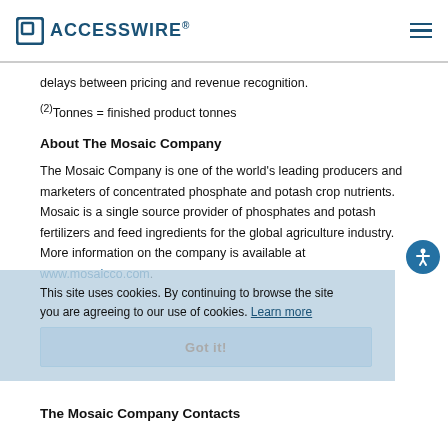ACCESSWIRE®
delays between pricing and revenue recognition.
(2)Tonnes = finished product tonnes
About The Mosaic Company
The Mosaic Company is one of the world's leading producers and marketers of concentrated phosphate and potash crop nutrients. Mosaic is a single source provider of phosphates and potash fertilizers and feed ingredients for the global agriculture industry. More information on the company is available at www.mosaicco.com.
The Mosaic Company Contacts